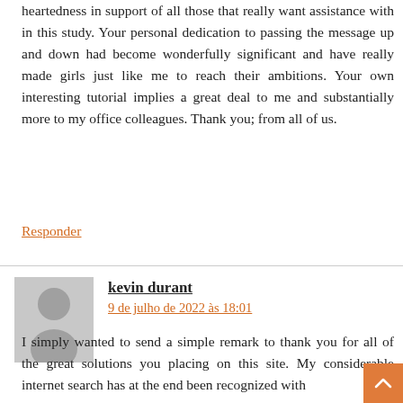heartedness in support of all those that really want assistance with in this study. Your personal dedication to passing the message up and down had become wonderfully significant and have really made girls just like me to reach their ambitions. Your own interesting tutorial implies a great deal to me and substantially more to my office colleagues. Thank you; from all of us.
Responder
kevin durant
9 de julho de 2022 às 18:01
I simply wanted to send a simple remark to thank you for all of the great solutions you placing on this site. My considerable internet search has at the end been recognized with